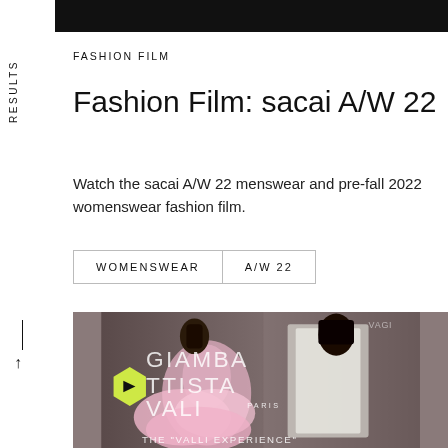RESULTS
FASHION FILM
Fashion Film: sacai A/W 22
Watch the sacai A/W 22 menswear and pre-fall 2022 womenswear fashion film.
| WOMENSWEAR | A/W 22 |
[Figure (photo): Fashion film thumbnail showing models in pink tulle dresses with Giambattista Valli Paris branding overlay and yellow hexagon play button. Text reads: GIAMBATTISTA VALLI, PARIS, THE 'VALLI EXPERIENCE']